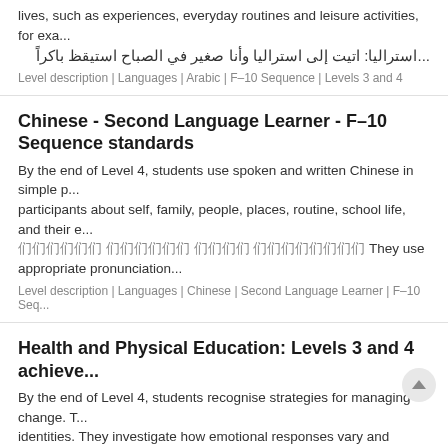lives, such as experiences, everyday routines and leisure activities, for exa... ...استراليا: اتيت إلى استراليا وأنا صغير في الصباح استيقظ باكراً
Level description | Languages | Arabic | F–10 Sequence | Levels 3 and 4
Chinese - Second Language Learner - F–10 Sequence standards
By the end of Level 4, students use spoken and written Chinese in simple p... participants about self, family, people, places, routine, school life, and their ... 们们们们们们 们们们们们们 们们们们 们们们们们们们们 They use appropriate pronunciation...
Level description | Languages | Chinese | Second Language Learner | F–10 Seq...
Health and Physical Education: Levels 3 and 4 achieve...
By the end of Level 4, students recognise strategies for managing change. They investigate how emotional responses vary and understand h... different situations including in physical activities. Students interpret...
Level description | Health and Physical Education | Levels 3 and 4
History: Levels 3 and 4 achievement standards